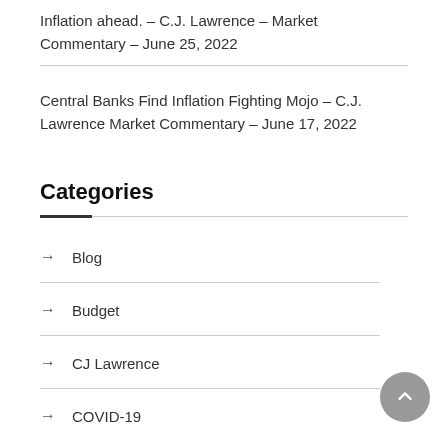Inflation ahead. – C.J. Lawrence – Market Commentary – June 25, 2022
Central Banks Find Inflation Fighting Mojo – C.J. Lawrence Market Commentary – June 17, 2022
Categories
Blog
Budget
CJ Lawrence
COVID-19